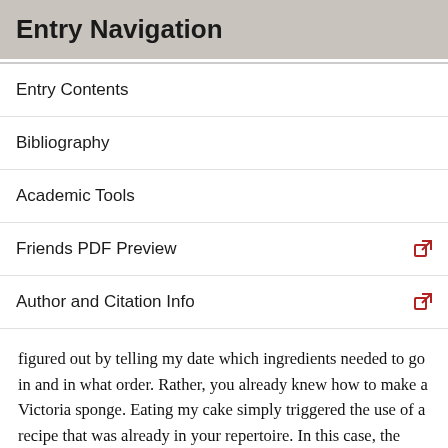Entry Navigation
Entry Contents
Bibliography
Academic Tools
Friends PDF Preview
Author and Citation Info
figured out by telling my date which ingredients needed to go in and in what order. Rather, you already knew how to make a Victoria sponge. Eating my cake simply triggered the use of a recipe that was already in your repertoire. In this case, the recipe has appeared in my head, and because of this it has appeared in yours, but not because your recipe is a copy of mine. Sperber argues that memetics is mistaken because most cases of the spread of ideas are like this:
… most cultural items are ‘re-produced’ in the sense that they are produced again and again—with, of